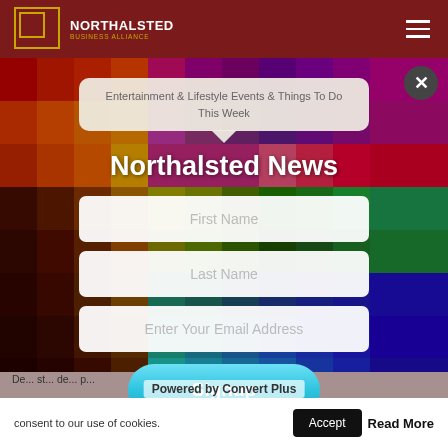[Figure (screenshot): Northalsted website screenshot with colorful mosaic/rainbow background and a newsletter signup modal overlay. Header bar is dark red with Northalsted logo and hamburger menu. Modal contains a search box with 'Entertainment & Lifestyle Events & Things To Do This Week', 'Northalsted News' title, First Name / Last Name / Enter Your Email Address input fields, and a Signup button. Bottom bar shows 'Powered by Convert Plus', Accept button, and Read More link. Cookie consent bar at bottom.]
NORTHALSTED
Northalsted News
Entertainment & Lifestyle Events & Things To Do This Week
First Name
Last Name
Enter Your Email Address
Signup
Powered by Convert Plus
consent to our use of cookies.
Accept
Read More